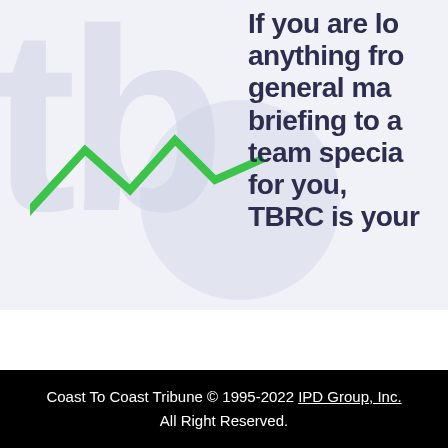[Figure (other): Promotional banner with watermark letters 'tb', a circle watermark, a green zigzag line chart, and large bold dark text reading 'If you are lo... anything fro... general ma... briefing to a... team specia... for you, TBRC is your...' on a light blue-grey background]
Coast To Coast Tribune © 1995-2022 IPD Group, Inc. All Right Reserved.